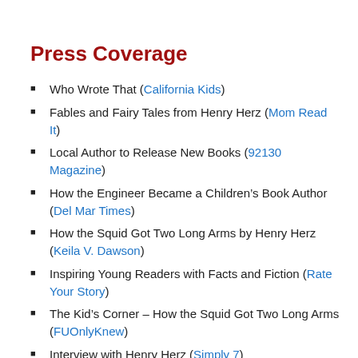Press Coverage
Who Wrote That (California Kids)
Fables and Fairy Tales from Henry Herz (Mom Read It)
Local Author to Release New Books (92130 Magazine)
How the Engineer Became a Children's Book Author (Del Mar Times)
How the Squid Got Two Long Arms by Henry Herz (Keila V. Dawson)
Inspiring Young Readers with Facts and Fiction (Rate Your Story)
The Kid's Corner – How the Squid Got Two Long Arms (FUOnlyKnew)
Interview with Henry Herz (Simply 7)